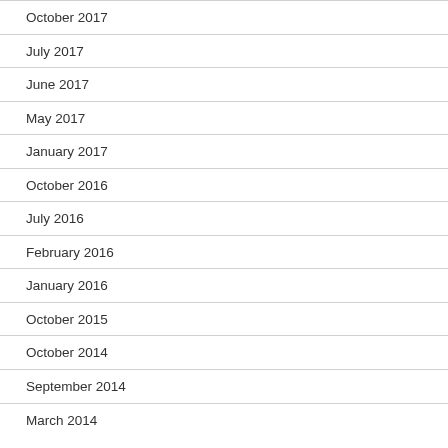October 2017
July 2017
June 2017
May 2017
January 2017
October 2016
July 2016
February 2016
January 2016
October 2015
October 2014
September 2014
March 2014